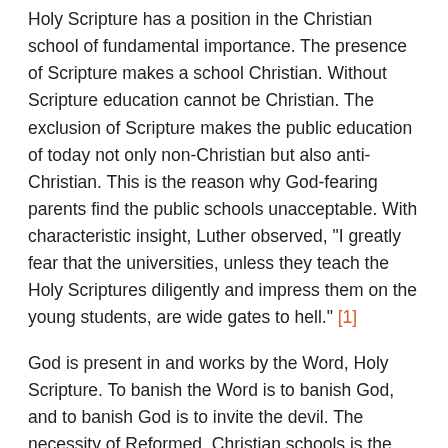Holy Scripture has a position in the Christian school of fundamental importance. The presence of Scripture makes a school Christian. Without Scripture education cannot be Christian. The exclusion of Scripture makes the public education of today not only non-Christian but also anti-Christian. This is the reason why God-fearing parents find the public schools unacceptable. With characteristic insight, Luther observed, "I greatly fear that the universities, unless they teach the Holy Scriptures diligently and impress them on the young students, are wide gates to hell." [1]
God is present in and works by the Word, Holy Scripture. To banish the Word is to banish God, and to banish God is to invite the devil. The necessity of Reformed, Christian schools is the necessity of Scripture's being present in the schools in its full, rich, uncorrupted power.
The presence of Scripture in the school is intimately related to the covenant basis of the school. The activity of rearing covenant children in the nurture and admonition of the Lord Christ is only done by means of Scripture. The precepts of Jehovah which Deuteronomy 6 requires us to teach our children are given in